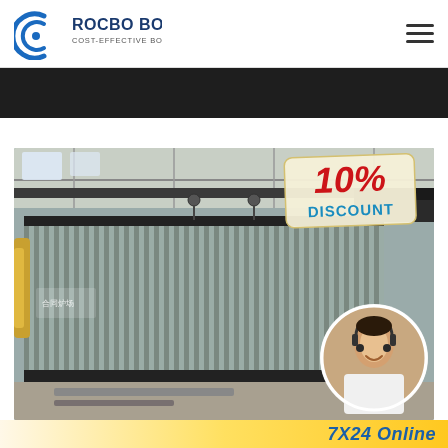[Figure (logo): Rocbo Boiler logo — blue circular C-shaped wave icon with text ROCBO BOILER and subtitle COST-EFFECTIVE BOILER SUPPLIER]
[Figure (photo): Industrial boiler facility interior showing a large corrugated metal boiler unit with overhead crane system. A 10% DISCOUNT badge overlays the top right, and a circular customer service representative photo overlays the bottom right.]
7X24 Online